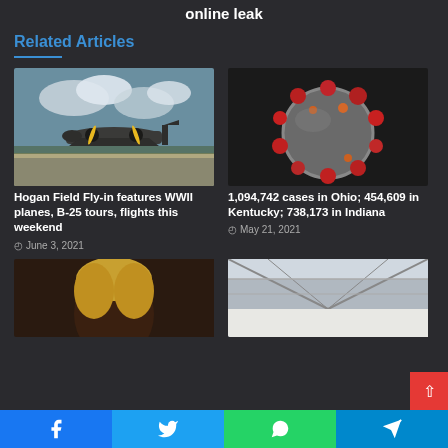online leak
Related Articles
[Figure (photo): WWII B-25 bomber plane on airfield runway with clouds in background]
Hogan Field Fly-in features WWII planes, B-25 tours, flights this weekend
June 3, 2021
[Figure (photo): Close-up microscopic image of coronavirus particle with red spike proteins]
1,094,742 cases in Ohio; 454,609 in Kentucky; 738,173 in Indiana
May 21, 2021
[Figure (photo): Partial view of a person with blond hair against dark background]
[Figure (photo): Interior of a large arena or stadium with ceiling structure visible]
Facebook | Twitter | WhatsApp | Telegram